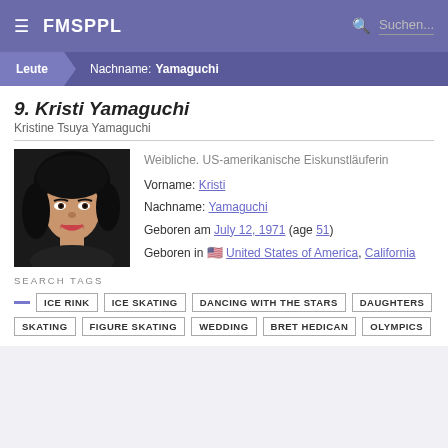≡ FMSPPL  Suchen...
Leute  Nachname: Yamaguchi
9. Kristi Yamaguchi
Kristine Tsuya Yamaguchi
[Figure (photo): Portrait photo of Kristi Yamaguchi, a woman with dark hair and a smile]
Weibliche. US-amerikanische Eiskunstläuferin
Vorname: Kristi
Nachname: Yamaguchi
Geboren am July 12, 1971 (age 51)
Geboren in 🇺🇸 United States of America, California
SEARCH TAGS
ICE RINK
ICE SKATING
DANCING WITH THE STARS
DAUGHTERS
SKATING
FIGURE SKATING
WEDDING
BRET HEDICAN
OLYMPICS